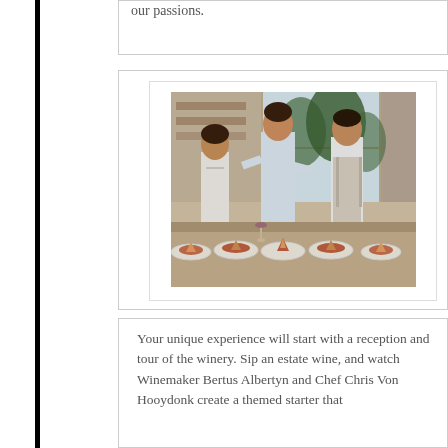our passions.
[Figure (photo): Three people standing in a kitchen/dining area conversing, with plated dishes on a long table in the foreground. One person appears to be a chef in an apron.]
Your unique experience will start with a reception and tour of the winery. Sip an estate wine, and watch Winemaker Bertus Albertyn and Chef Chris Von Hooydonk create a themed starter that